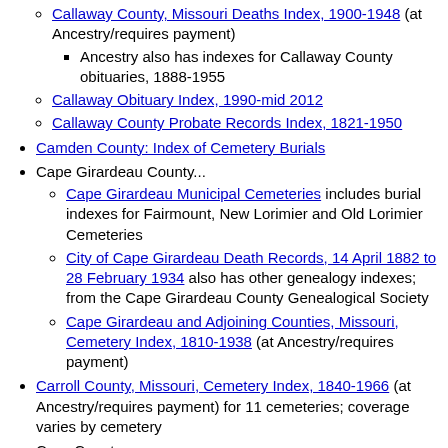Callaway County, Missouri Deaths Index, 1900-1948 (at Ancestry/requires payment)
Ancestry also has indexes for Callaway County obituaries, 1888-1955
Callaway Obituary Index, 1990-mid 2012
Callaway County Probate Records Index, 1821-1950
Camden County: Index of Cemetery Burials
Cape Girardeau County...
Cape Girardeau Municipal Cemeteries includes burial indexes for Fairmount, New Lorimier and Old Lorimier Cemeteries
City of Cape Girardeau Death Records, 14 April 1882 to 28 February 1934 also has other genealogy indexes; from the Cape Girardeau County Genealogical Society
Cape Girardeau and Adjoining Counties, Missouri, Cemetery Index, 1810-1938 (at Ancestry/requires payment)
Carroll County, Missouri, Cemetery Index, 1840-1966 (at Ancestry/requires payment) for 11 cemeteries; coverage varies by cemetery
Cass County...
Cass County Cemetery Burials Index from